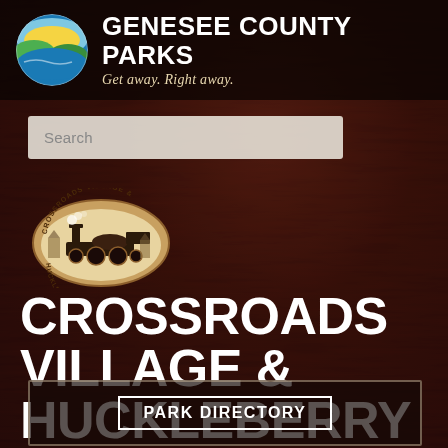GENESEE COUNTY PARKS
Get away. Right away.
[Figure (logo): Genesee County Parks circular logo with landscape/sky design]
Search
[Figure (logo): Crossroads Village & Huckleberry Railroad circular badge logo with steam locomotive illustration]
CROSSROADS VILLAGE & HUCKLEBERRY RAILROAD
PARK DIRECTORY